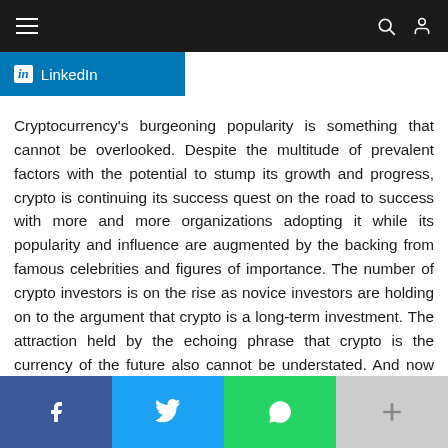≡  [search] [user]
[Figure (logo): LinkedIn share button with 'in' logo and 'LinkedIn' text on blue background]
Cryptocurrency's burgeoning popularity is something that cannot be overlooked. Despite the multitude of prevalent factors with the potential to stump its growth and progress, crypto is continuing its success quest on the road to success with more and more organizations adopting it while its popularity and influence are augmented by the backing from famous celebrities and figures of importance. The number of crypto investors is on the rise as novice investors are holding on to the argument that crypto is a long-term investment. The attraction held by the echoing phrase that crypto is the currency of the future also cannot be understated. And now Russia has come up with rather intriguing statistics revealing that it owns cryptocurrency worth a whopping $200 billion which makes 12 percent of the world total. Perhaps crypto is actually the stuff on which the future will be built.
f  [twitter bird]  [WhatsApp]  +